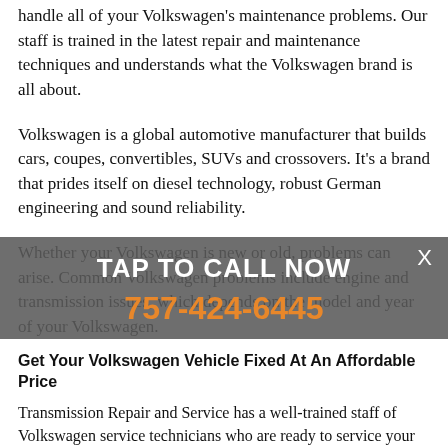handle all of your Volkswagen's maintenance problems. Our staff is trained in the latest repair and maintenance techniques and understands what the Volkswagen brand is all about.
Volkswagen is a global automotive manufacturer that builds cars, coupes, convertibles, SUVs and crossovers. It's a brand that prides itself on diesel technology, robust German engineering and sound reliability.
Whether your Volkswagen is new or old, problems can arise. Common Volkswagen problems include engine and transmission issues, which depends on the model and year of your Volkswagen.
TAP TO CALL NOW
757-424-6445
Get Your Volkswagen Vehicle Fixed At An Affordable Price
Transmission Repair and Service has a well-trained staff of Volkswagen service technicians who are ready to service your